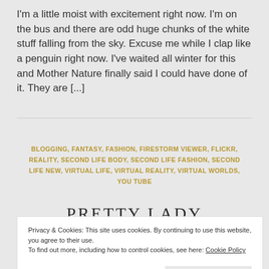I'm a little moist with excitement right now. I'm on the bus and there are odd huge chunks of the white stuff falling from the sky. Excuse me while I clap like a penguin right now. I've waited all winter for this and Mother Nature finally said I could have done of it. They are [...]
BLOGGING, FANTASY, FASHION, FIRESTORM VIEWER, FLICKR, REALITY, SECOND LIFE BODY, SECOND LIFE FASHION, SECOND LIFE NEW, VIRTUAL LIFE, VIRTUAL REALITY, VIRTUAL WORLDS, YOU TUBE
PRETTY LADY
Privacy & Cookies: This site uses cookies. By continuing to use this website, you agree to their use. To find out more, including how to control cookies, see here: Cookie Policy
late for work and then realised it's Sunday!!! Seriously why . The